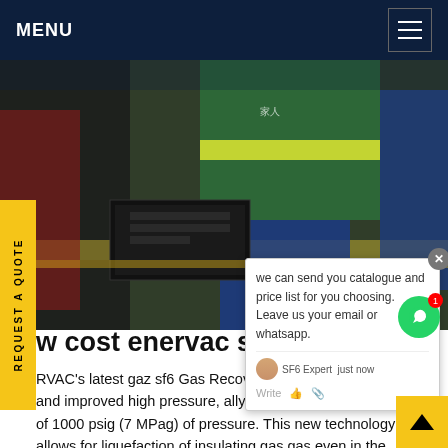MENU
[Figure (photo): Workers in safety gear and hard hats working with SF6 gas recovery equipment, including a black case/unit on a workbench. One worker wears a green vest with yellow reflective stripe and Chinese characters.]
w cost enervac sf...
RVAC's latest gaz sf6 Gas Recovery Unit incorporates a new and improved high pressure, ally oil-less compressor capable of 1000 psig (7 MPag) of pressure. This new technology allows for liquefaction of insulating gas gas even in the warm climates typical of the southern United States. This cart is ideally suited for servicing small volume of 6...